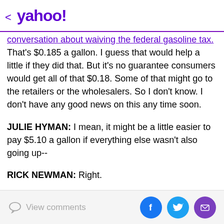< yahoo!
conversation about waiving the federal gasoline tax. That's $0.185 a gallon. I guess that would help a little if they did that. But it's no guarantee consumers would get all of that $0.18. Some of that might go to the retailers or the wholesalers. So I don't know. I don't have any good news on this any time soon.
JULIE HYMAN: I mean, it might be a little easier to pay $5.10 a gallon if everything else wasn't also going up--
RICK NEWMAN: Right.
JULIE HYMAN: --at such an incredible rate. All right, Rick Newman, thank you.
RICK NEWMAN: R...
View comments